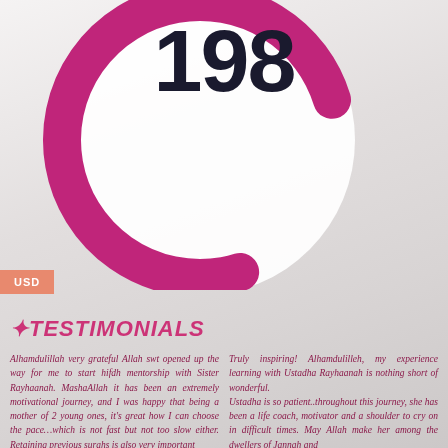[Figure (infographic): Large circular donut/arc graphic in magenta/pink color partially visible at top of page, with the number 198 displayed prominently in the center area]
198
USD
TESTIMONIALS
Alhamdulillah very grateful Allah swt opened up the way for me to start hifdh mentorship with Sister Rayhaanah. MashaAllah it has been an extremely motivational journey, and I was happy that being a mother of 2 young ones, it's great how I can choose the pace…which is not fast but not too slow either. Retaining previous surahs is also very important
Truly inspiring! Alhamdulilleh, my experience learning with Ustadha Rayhaanah is nothing short of wonderful. Ustadha is so patient..throughout this journey, she has been a life coach, motivator and a shoulder to cry on in difficult times. May Allah make her among the dwellers of Jannah and